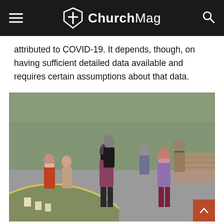ChurchMag
attributed to COVID-19. It depends, though, on having sufficient detailed data available and requires certain assumptions about that data.
[Figure (photo): Outdoor gathering of people wearing face masks, standing socially distanced on a parking lot or driveway, some holding papers or programs. Trees and brick building visible in background. Luminaries visible along a curved curb in the foreground.]